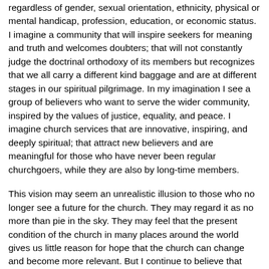regardless of gender, sexual orientation, ethnicity, physical or mental handicap, profession, education, or economic status. I imagine a community that will inspire seekers for meaning and truth and welcomes doubters; that will not constantly judge the doctrinal orthodoxy of its members but recognizes that we all carry a different kind baggage and are at different stages in our spiritual pilgrimage. In my imagination I see a group of believers who want to serve the wider community, inspired by the values of justice, equality, and peace. I imagine church services that are innovative, inspiring, and deeply spiritual; that attract new believers and are meaningful for those who have never been regular churchgoers, while they are also by long-time members.
This vision may seem an unrealistic illusion to those who no longer see a future for the church. They may regard it as no more than pie in the sky. They may feel that the present condition of the church in many places around the world gives us little reason for hope that the church can change and become more relevant. But I continue to believe that God will not forsake His people. He wants us not to give up